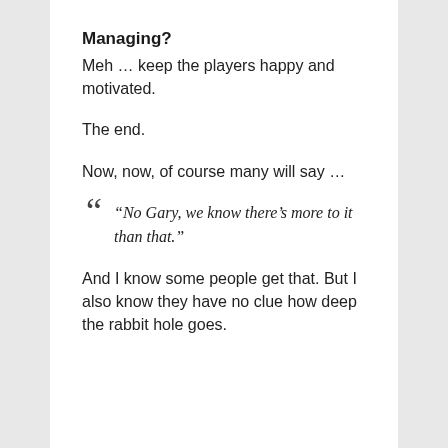Managing?
Meh … keep the players happy and motivated.
The end.
Now, now, of course many will say …
“No Gary, we know there’s more to it than that.”
And I know some people get that. But I also know they have no clue how deep the rabbit hole goes.